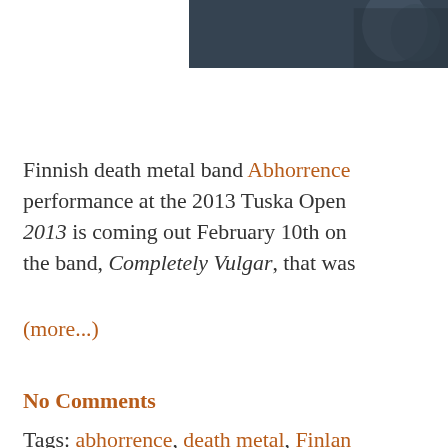[Figure (photo): Partial photo of a dark scene, likely a band or concert photo, cropped at top right]
Finnish death metal band Abhorrence performance at the 2013 Tuska Open 2013 is coming out February 10th on the band, Completely Vulgar, that was
(more...)
No Comments
Tags: abhorrence, death metal, Finland release